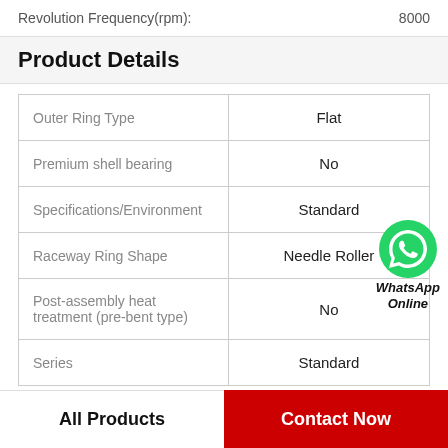Revolution Frequency(rpm):    8000
Product Details
| Outer Ring Type | Flat |
| Premium shell bearing | No |
| Specifications/Environment | Standard |
| Raceway Ring Shape | Needle Roller |
| Post-assembly heat treatment (pre-bent type) | No |
| Series | Standard |
[Figure (logo): WhatsApp Online green phone icon with text 'WhatsApp Online']
All Products
Contact Now